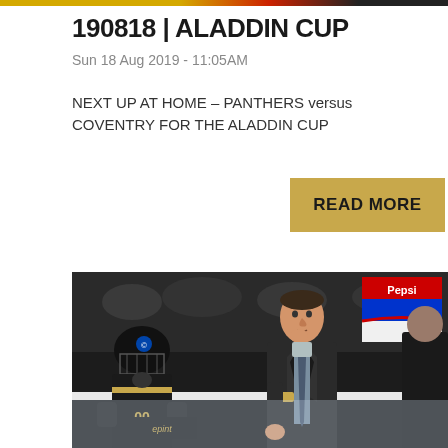190818 | ALADDIN CUP
Sun 18 Aug 2019 - 11:05AM
NEXT UP AT HOME – PANTHERS versus COVENTRY FOR THE ALADDIN CUP
READ MORE
[Figure (photo): Hockey coach in dark suit standing at rinkside bench, hand to chin in thoughtful pose, with a player in black and gold helmet visible to the left and a Pepsi banner in the background]